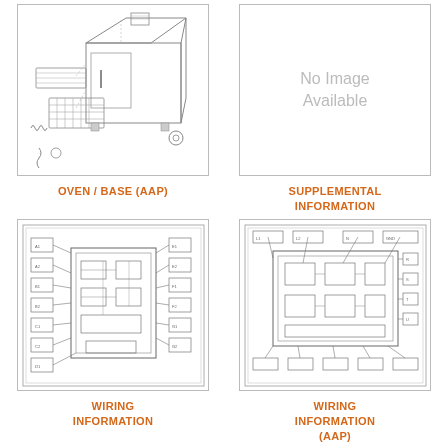[Figure (engineering-diagram): Exploded diagram of an oven/base assembly showing components such as racks, heating elements, chassis, and accessories]
OVEN / BASE (AAP)
[Figure (other): Placeholder box with text reading No Image Available]
SUPPLEMENTAL INFORMATION
[Figure (schematic): Wiring diagram schematic showing electrical circuit connections for an appliance]
WIRING INFORMATION
[Figure (schematic): Wiring diagram schematic (AAP) showing electrical circuit connections for an appliance]
WIRING INFORMATION (AAP)